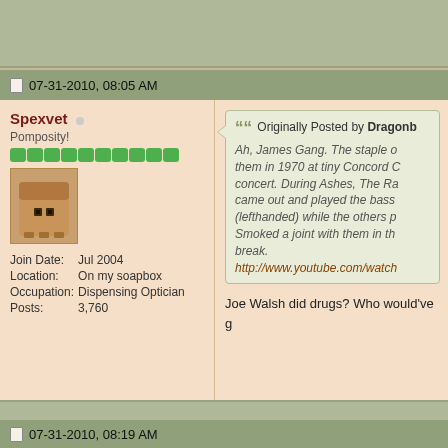07-31-2010, 08:05 AM
Spexvet
Pomposity!
Join Date: Jul 2004
Location: On my soapbox
Occupation: Dispensing Optician
Posts: 3,760
Originally Posted by Dragonb... Ah, James Gang. The staple o... them in 1970 at tiny Concord C... concert. During Ashes, The Ra... came out and played the bass ... (lefthanded) while the others p... Smoked a joint with them in th... break. http://www.youtube.com/watch...
Joe Walsh did drugs? Who would've g...
....Just ask me...
07-31-2010, 08:19 AM